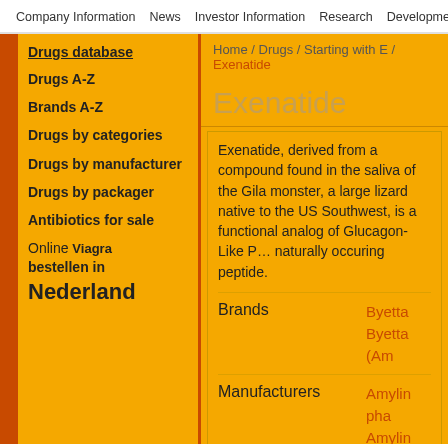Company Information  News  Investor Information  Research  Development
Home / Drugs / Starting with E / Exenatide
Exenatide
Drugs database
Drugs A-Z
Brands A-Z
Drugs by categories
Drugs by manufacturer
Drugs by packager
Antibiotics for sale
Online Viagra bestellen in Nederland
Exenatide, derived from a compound found in the saliva of the Gila monster, a large lizard native to the US Southwest, is a functional analog of Glucagon-Like Peptide-1 (GLP-1), a naturally occuring peptide.
|  |  |
| --- | --- |
| Brands | Byetta
Byetta (Am |
| Manufacturers | Amylin pha
Amylin Pha |
| Packagers | Amylin Pha
Baxter Inte
CP Pharma
Eli Lilly & C
Physicians |
| Synonyms | AC2993
Synthetic c |